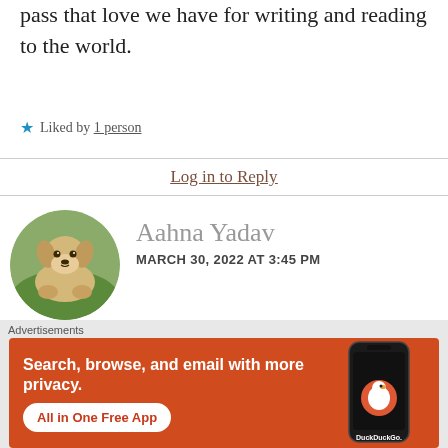pass that love we have for writing and reading to the world.
★ Liked by 1 person
Log in to Reply
[Figure (photo): Circular avatar photo of a golden retriever puppy lying in grass]
Aahna Yadav
MARCH 30, 2022 AT 3:45 PM
I am sure books taught you more than anyone or anything Eiravel, isn't it?? I am also
[Figure (infographic): DuckDuckGo advertisement banner: Search, browse, and email with more privacy. All in One Free App. Shows a smartphone image with DuckDuckGo logo.]